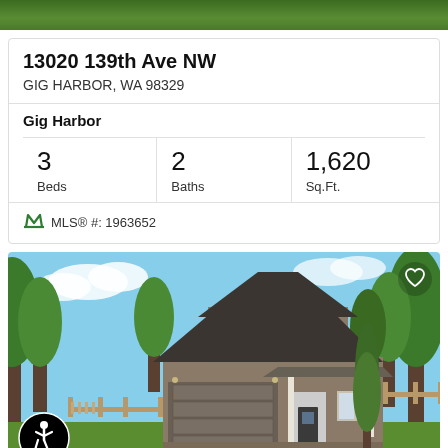[Figure (photo): Green foliage/trees strip at top of page]
13020 139th Ave NW
GIG HARBOR, WA 98329
Gig Harbor
3 Beds
2 Baths
1,620 Sq.Ft.
MLS® #: 1963652
[Figure (photo): Exterior photo of a two-story craftsman-style house with gray siding, two-car garage, covered porch, surrounded by evergreen trees and landscaped yard. Accessibility icon in bottom-left corner, heart/favorite icon in top-right corner.]